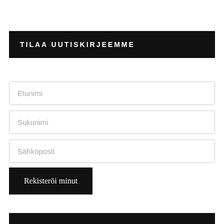TILAA UUTISKIRJEEMME
Etunimi
Sukunimi
Sähköposti
Rekisteröi minut